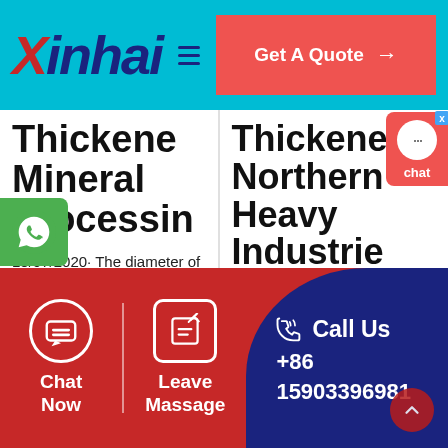[Figure (logo): Xinhai company logo in dark blue italic bold font on cyan background with red X]
Get A Quote →
Thickene Mineral Processin
13/07/2020· The diameter of the thickener can be reduced to 1 / 3 / 2 of that of
Thickene Northern Heavy Industrie Co., Ltd.
Thickener DESCRIPTION
[Figure (infographic): Chat bubble icon in white circle on red background with label 'chat' and close X button]
[Figure (infographic): WhatsApp green icon on left side]
Chat Now
Leave Massage
Call Us
+86
15903396981